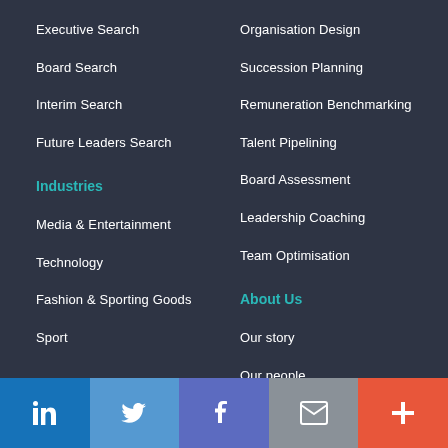Executive Search
Board Search
Interim Search
Future Leaders Search
Organisation Design
Succession Planning
Remuneration Benchmarking
Talent Pipelining
Board Assessment
Leadership Coaching
Team Optimisation
Industries
Media & Entertainment
Technology
Fashion & Sporting Goods
Sport
About Us
Our story
Our people
Locations
Inclusion